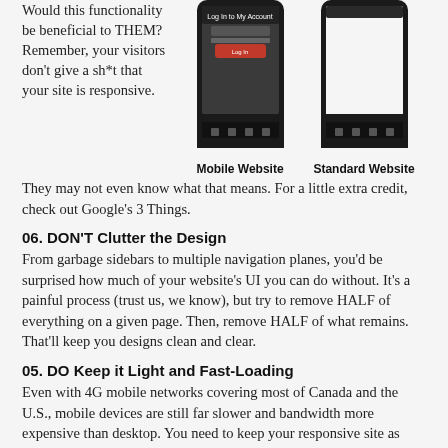Would this functionality be beneficial to THEM? Remember, your visitors don't give a sh*t that your site is responsive. They may not even know what that means. For a little extra credit, check out Google's 3 Things.
[Figure (photo): Two smartphones shown side by side. Left phone labeled 'Mobile Website' shows a login screen with 'Log in to My Account' and red button. Right phone labeled 'Standard Website' shows a mostly white/blank screen.]
Mobile Website
Standard Website
06. DON'T Clutter the Design
From garbage sidebars to multiple navigation planes, you'd be surprised how much of your website's UI you can do without. It's a painful process (trust us, we know), but try to remove HALF of everything on a given page. Then, remove HALF of what remains. That'll keep you designs clean and clear.
05. DO Keep it Light and Fast-Loading
Even with 4G mobile networks covering most of Canada and the U.S., mobile devices are still far slower and bandwidth more expensive than desktop. You need to keep your responsive site as light as possible. Keep in mind, the biggest problem with